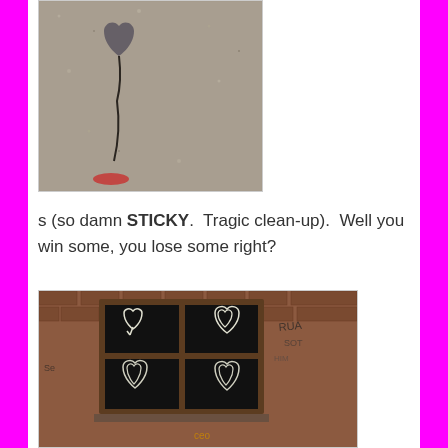[Figure (photo): Close-up photo of asphalt/pavement with a heart shape drawn or embedded in it, with a crack line running down and a red smudge at the bottom]
s (so damn STICKY.  Tragic clean-up).  Well you win some, you lose some right?
[Figure (photo): Photo of a brick building wall with a boarded-up window covered in black paint/chalkboard surface. Four heart shapes are drawn on the four panes of the window. Surrounding brick wall has graffiti tags.]